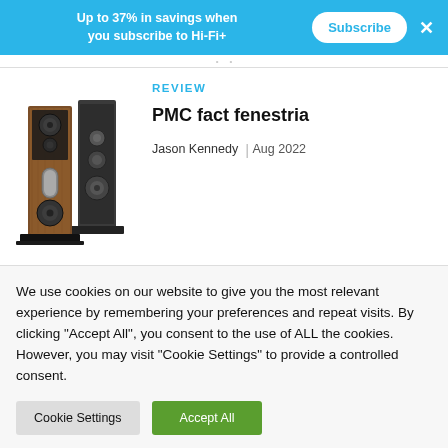Up to 37% in savings when you subscribe to Hi-Fi+  Subscribe  ×
[Figure (photo): Two PMC fact fenestria floor-standing loudspeakers, one with walnut wood veneer front and one partially behind it, on metal plinths]
REVIEW
PMC fact fenestria
Jason Kennedy  |  Aug 2022
We use cookies on our website to give you the most relevant experience by remembering your preferences and repeat visits. By clicking "Accept All", you consent to the use of ALL the cookies. However, you may visit "Cookie Settings" to provide a controlled consent.
Cookie Settings   Accept All